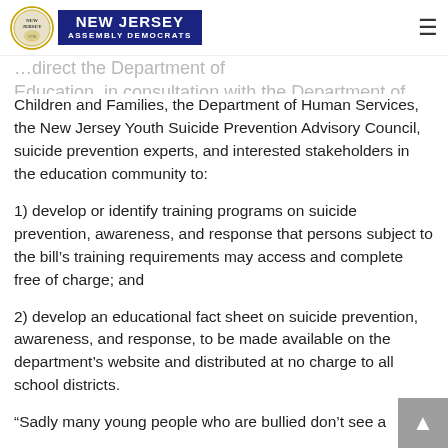New Jersey Assembly Democrats
Children and Families, the Department of Human Services, the New Jersey Youth Suicide Prevention Advisory Council, suicide prevention experts, and interested stakeholders in the education community to:
1) develop or identify training programs on suicide prevention, awareness, and response that persons subject to the bill’s training requirements may access and complete free of charge; and
2) develop an educational fact sheet on suicide prevention, awareness, and response, to be made available on the department’s website and distributed at no charge to all school districts.
“Sadly many young people who are bullied don’t see a